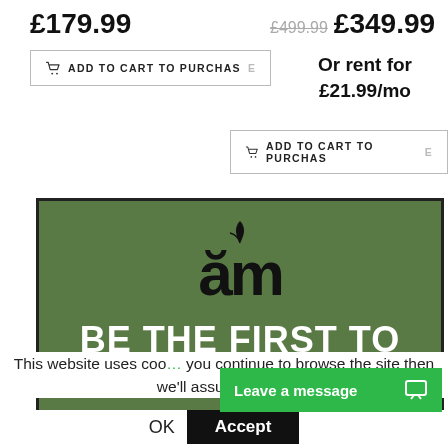£179.99
ADD TO CART TO PURCHASE
£499.99 £349.99
Or rent for £21.99/mo
ADD TO CART TO PURCHASE
[Figure (screenshot): Green banner with 'am' logo and 'BE THE FIRST TO' text]
Leave a message
This website uses coo... you continue to browse the site then we'll assume you're
OK  Accept